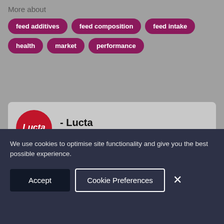More about
feed additives
feed composition
feed intake
health
market
performance
[Figure (logo): Lucta company red circular logo with white text]
- Lucta
Company profile
is a Spanish company, founded in Barcelona in 1949
We use cookies to optimise site functionality and give you the best possible experience.
Accept
Cookie Preferences